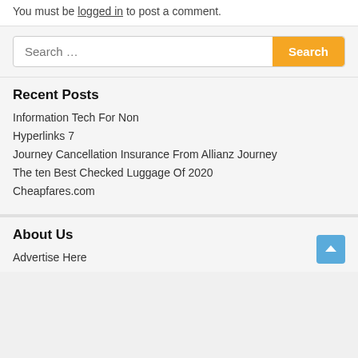You must be logged in to post a comment.
Search …
Recent Posts
Information Tech For Non
Hyperlinks 7
Journey Cancellation Insurance From Allianz Journey
The ten Best Checked Luggage Of 2020
Cheapfares.com
About Us
Advertise Here